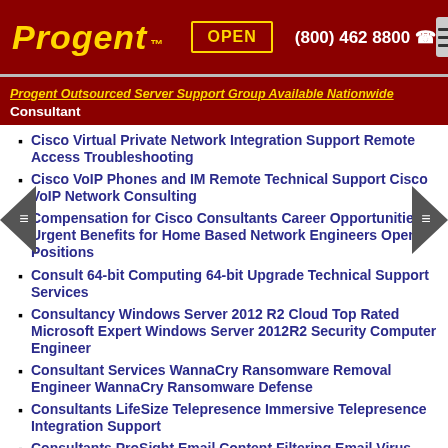Progent TM | OPEN | (800) 462 8800
Progent Outsourced Server Support Group Available Nationwide
Consultant
Cisco Virtual Private Network Integration Support Remote Access Troubleshooting
Cisco VoIP Phones and IM Remote Technical Support Cisco VoIP Network Consulting
Compensation for Cisco Consultants Career Opportunities Urgent Benefits for Home Based Network Engineers Open Positions
Consult 64-bit Computing 64-bit Upgrade Technical Support Services
Consultancy Windows Server 2012 R2 Cloud Top Rated Microsoft Expert Windows Server 2012R2 Security Computer Engineer
Consultant Services WannaCry Ransomware Removal Engineer WannaCry Ransomware Defense
Consultants LifeSize Telepresence Immersive Telepresence Integration Support
Consultants ProSight Email Content Filtering Email Virus Signature Professional